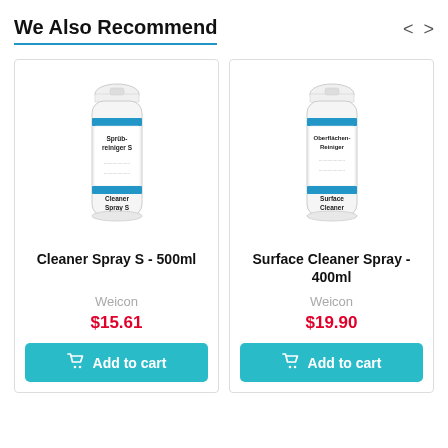We Also Recommend
[Figure (photo): Spray can product: Cleaner Spray S 500ml by Weicon]
Cleaner Spray S - 500ml
Weicon
$15.61
[Figure (photo): Spray can product: Surface Cleaner Spray 400ml by Weicon]
Surface Cleaner Spray - 400ml
Weicon
$19.90